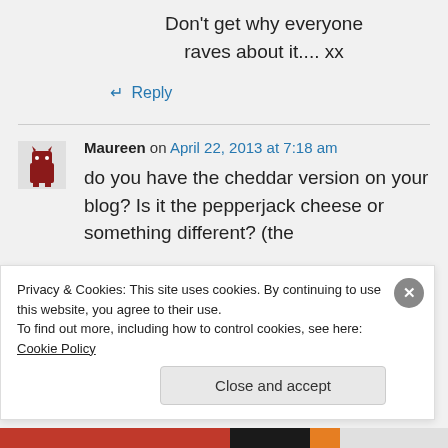Don’t get why everyone raves about it.... xx
↵ Reply
Maureen on April 22, 2013 at 7:18 am
do you have the cheddar version on your blog? Is it the pepperjack cheese or something different? (the
Privacy & Cookies: This site uses cookies. By continuing to use this website, you agree to their use.
To find out more, including how to control cookies, see here: Cookie Policy
Close and accept